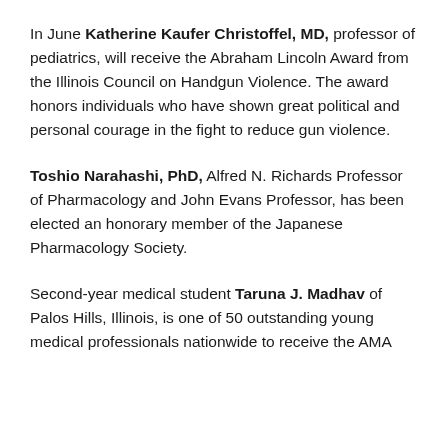In June Katherine Kaufer Christoffel, MD, professor of pediatrics, will receive the Abraham Lincoln Award from the Illinois Council on Handgun Violence. The award honors individuals who have shown great political and personal courage in the fight to reduce gun violence.
Toshio Narahashi, PhD, Alfred N. Richards Professor of Pharmacology and John Evans Professor, has been elected an honorary member of the Japanese Pharmacology Society.
Second-year medical student Taruna J. Madhav of Palos Hills, Illinois, is one of 50 outstanding young medical professionals nationwide to receive the AMA